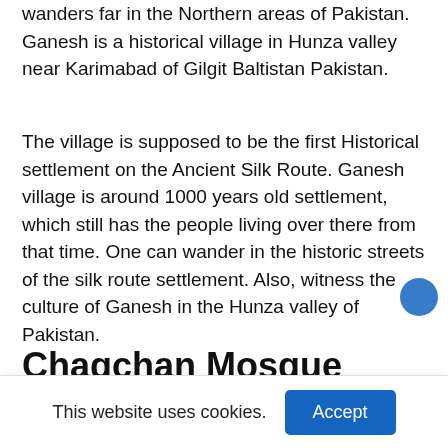wanders far in the Northern areas of Pakistan. Ganesh is a historical village in Hunza valley near Karimabad of Gilgit Baltistan Pakistan.
The village is supposed to be the first Historical settlement on the Ancient Silk Route. Ganesh village is around 1000 years old settlement, which still has the people living over there from that time. One can wander in the historic streets of the silk route settlement. Also, witness the culture of Ganesh in the Hunza valley of Pakistan.
Chaqchan Mosque
This website uses cookies.